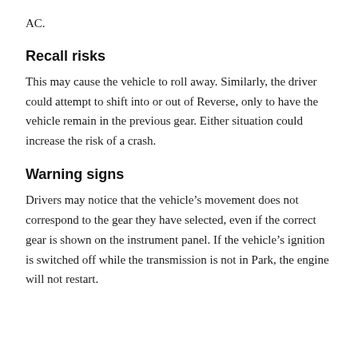AC.
Recall risks
This may cause the vehicle to roll away. Similarly, the driver could attempt to shift into or out of Reverse, only to have the vehicle remain in the previous gear. Either situation could increase the risk of a crash.
Warning signs
Drivers may notice that the vehicle’s movement does not correspond to the gear they have selected, even if the correct gear is shown on the instrument panel. If the vehicle’s ignition is switched off while the transmission is not in Park, the engine will not restart.